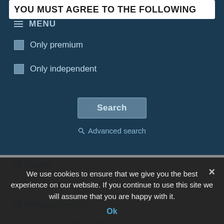YOU MUST AGREE TO THE FOLLOWING
MENU
Only premium
Only independent
Search
Advanced search
All Escorts
All New Escorts
All Premium Escorts
Register on Our Website
Community Rules
How it works
8escorts Labels
Advertise
NEWS
We use cookies to ensure that we give you the best experience on our website. If you continue to use this site we will assume that you are happy with it.
Ok